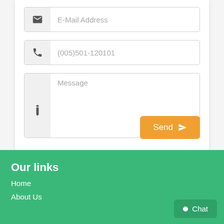[Figure (screenshot): Contact form with E-Mail Address input field with envelope icon]
E-Mail Address
(005)501-120101
Message
Send
Our links
Home
About Us
Chat